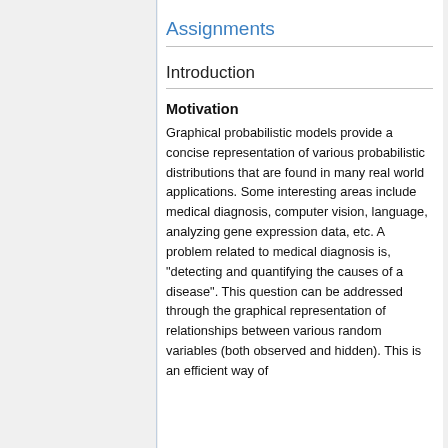Assignments
Introduction
Motivation
Graphical probabilistic models provide a concise representation of various probabilistic distributions that are found in many real world applications. Some interesting areas include medical diagnosis, computer vision, language, analyzing gene expression data, etc. A problem related to medical diagnosis is, "detecting and quantifying the causes of a disease". This question can be addressed through the graphical representation of relationships between various random variables (both observed and hidden). This is an efficient way of